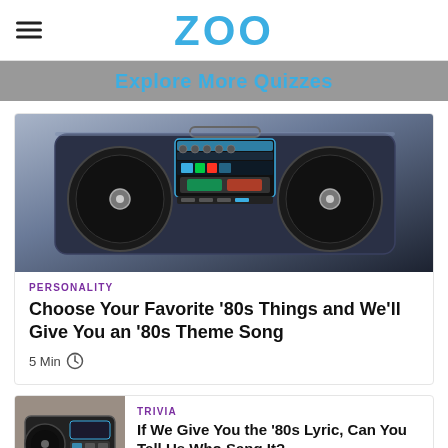ZOO
Explore More Quizzes
[Figure (photo): A retro 1980s boombox/radio cassette player with large speakers, colorful digital display panels, and chrome details on a light background.]
PERSONALITY
Choose Your Favorite '80s Things and We'll Give You an '80s Theme Song
5 Min
TRIVIA
If We Give You the '80s Lyric, Can You Tell Us Who Sang It?